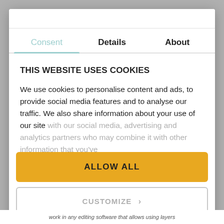Consent	Details	About
THIS WEBSITE USES COOKIES
We use cookies to personalise content and ads, to provide social media features and to analyse our traffic. We also share information about your use of our site with our social media, advertising and analytics partners who may combine it with other information that you've
ALLOW ALL
CUSTOMIZE >
work in any editing software that allows using layers